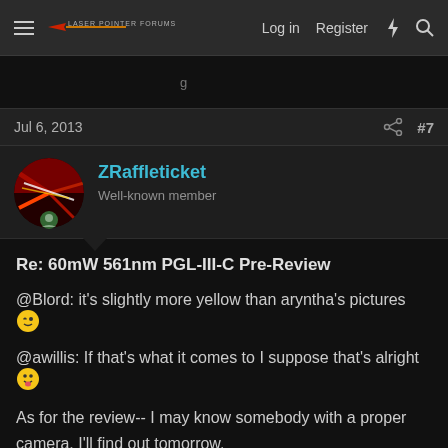Laser Pointer Forums — Log in  Register
Jul 6, 2013  #7
ZRaffleticket
Well-known member
Re: 60mW 561nm PGL-III-C Pre-Review
@Blord: it's slightly more yellow than aryntha's pictures 😉
@awillis: If that's what it comes to I suppose that's alright 😛
As for the review-- I may know somebody with a proper camera. I'll find out tomorrow.
Last edited: Jul 6, 2013